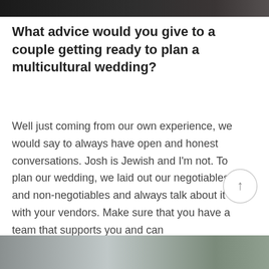[Figure (photo): Top portion of a photograph, cropped, showing a dark background with a person partially visible on the right edge.]
What advice would you give to a couple getting ready to plan a multicultural wedding?
Well just coming from our own experience, we would say to always have open and honest conversations. Josh is Jewish and I'm not. To plan our wedding, we laid out our negotiables and non-negotiables and always talk about it with your vendors. Make sure that you have a team that supports you and can accommodate your day to make it special for you. Start with the important elements and go from there!
[Figure (photo): Bottom portion of a photograph showing a light-colored interior space with a plant visible on the right side.]